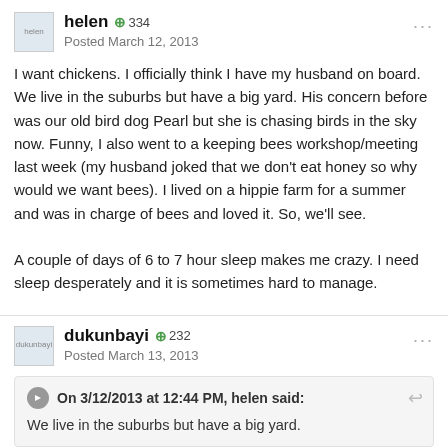helen  helen  +334  Posted March 12, 2013
I want chickens. I officially think I have my husband on board. We live in the suburbs but have a big yard. His concern before was our old bird dog Pearl but she is chasing birds in the sky now. Funny, I also went to a keeping bees workshop/meeting last week (my husband joked that we don't eat honey so why would we want bees). I lived on a hippie farm for a summer and was in charge of bees and loved it. So, we'll see.

A couple of days of 6 to 7 hour sleep makes me crazy. I need sleep desperately and it is sometimes hard to manage.
dukunbayi  +232  Posted March 13, 2013
On 3/12/2013 at 12:44 PM, helen said:
We live in the suburbs but have a big yard.